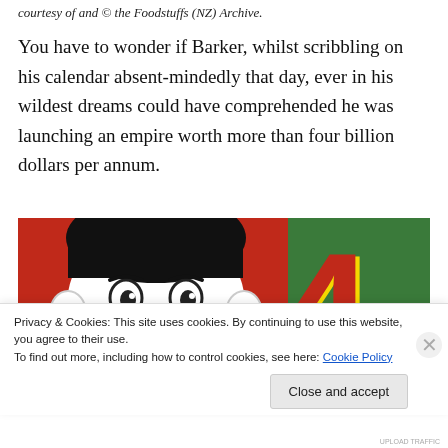courtesy of and © the Foodstuffs (NZ) Archive.
You have to wonder if Barker, whilst scribbling on his calendar absent-mindedly that day, ever in his wildest dreams could have comprehended he was launching an empire worth more than four billion dollars per annum.
[Figure (photo): A cartoon mascot character (a smiling man) on a red background on the left half, and a large red numeral '4' with yellow outline on a green background on the right half — a Four Square supermarket logo image.]
Privacy & Cookies: This site uses cookies. By continuing to use this website, you agree to their use.
To find out more, including how to control cookies, see here: Cookie Policy